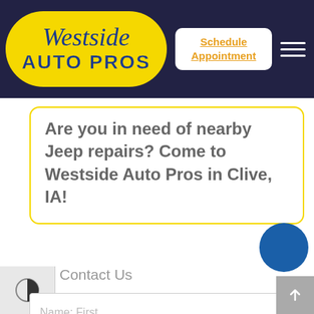[Figure (logo): Westside Auto Pros logo — yellow oval with blue script 'Westside' and bold 'AUTO PROS' text]
Schedule Appointment
Are you in need of nearby Jeep repairs? Come to Westside Auto Pros in Clive, IA!
Contact Us
Name: First
Name: Last
Email